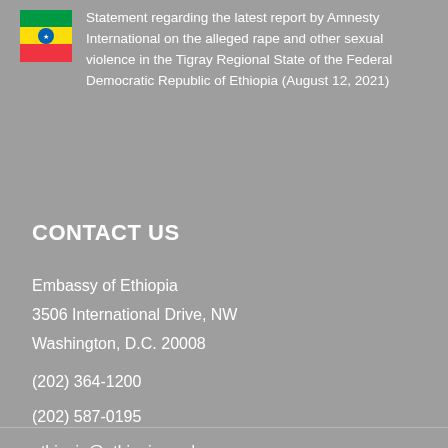[Figure (illustration): Small thumbnail image of a document cover showing the Ethiopian flag emblem]
Statement regarding the latest report by Amnesty International on the alleged rape and other sexual violence in the Tigray Regional State of the Federal Democratic Republic of Ethiopia (August 12, 2021)
CONTACT US
Embassy of Ethiopia
3506 International Drive, NW
Washington, D.C. 20008

(202) 364-1200

(202) 587-0195

ethiopia@ethiopianembassy.org